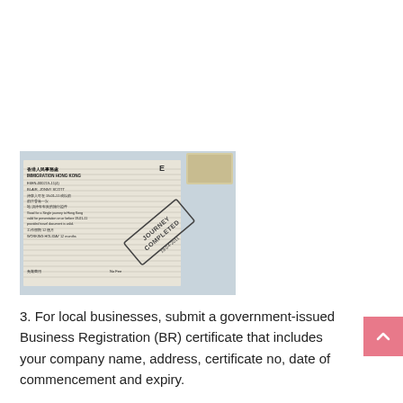[Figure (photo): Photo of an Immigration Hong Kong entry permit/visa label stamped with 'JOURNEY COMPLETED' dated 19-04-2011. The label shows: IMMIGRATION HONG KONG, E6EN-000219-11(4), BLAIR, JONNY SCOTT, valid date 19-01-11, single journey, Good for a Single journey to Hong Kong, WORKING HOLIDAY 12 months, No Fee.]
3. For local businesses, submit a government-issued Business Registration (BR) certificate that includes your company name, address, certificate no, date of commencement and expiry.